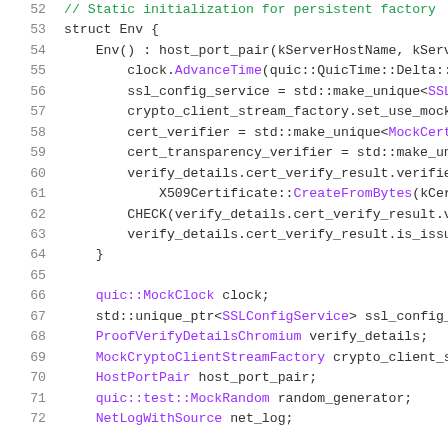Code snippet lines 52-72, C++ source file showing struct Env initialization with certificate verification and member variables.